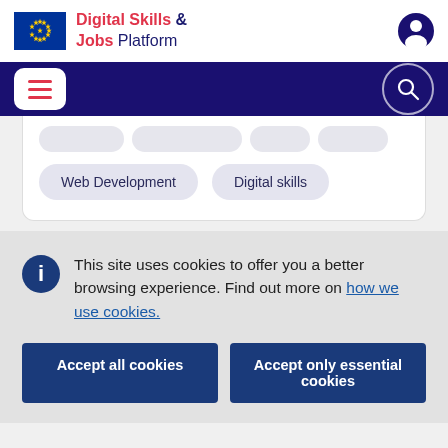[Figure (logo): EU flag with yellow stars on blue background and Digital Skills & Jobs Platform site header with user icon]
[Figure (screenshot): Dark navy navigation bar with hamburger menu button and search circle icon]
Web Development   Digital skills
This site uses cookies to offer you a better browsing experience. Find out more on how we use cookies.
Accept all cookies
Accept only essential cookies